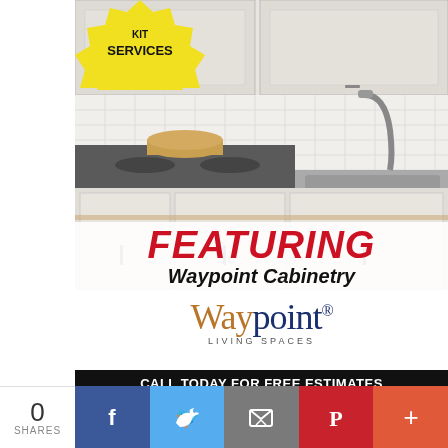[Figure (photo): Kitchen with white cabinets, stainless steel cooktop and sink, subway tile backsplash, with a yellow starburst badge saying SERVICES in top corner]
FEATURING Waypoint Cabinetry
[Figure (logo): Waypoint Living Spaces logo with Waypoint in brown/blue serif font and LIVING SPACES in small caps below]
CALL TODAY FOR FREE ESTIMATES
360-245-2715
6 MONTHS SAME AS CASH O.A.C.
0
SHARES